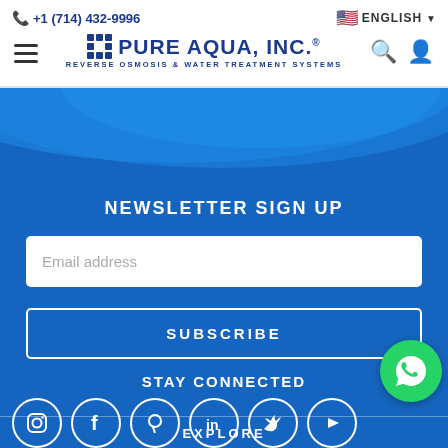+1 (714) 432-9996 | ENGLISH | Pure Aqua, Inc. Reverse Osmosis & Water Treatment Systems
[Figure (screenshot): Pure Aqua Inc. website screenshot showing newsletter signup, social media icons, and WhatsApp button on blue background]
NEWSLETTER SIGN UP
Email address
SUBSCRIBE
STAY CONNECTED
EXPLORE